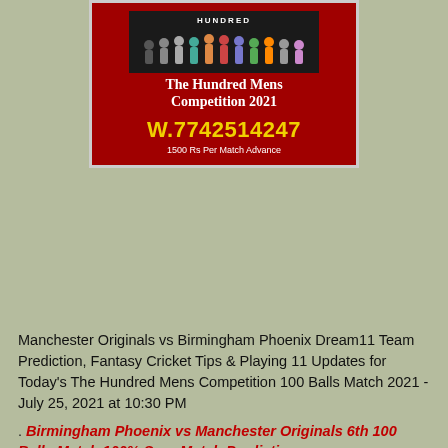[Figure (infographic): The Hundred Mens Competition 2021 promotional banner with team photo, phone number W.7742514247 and text '1500 Rs Per Match Advance']
Manchester Originals vs Birmingham Phoenix Dream11 Team Prediction, Fantasy Cricket Tips & Playing 11 Updates for Today's The Hundred Mens Competition 100 Balls Match 2021 - July 25, 2021 at 10:30 PM
. Birmingham Phoenix vs Manchester Originals 6th 100 Balls Match 100% Sure Match Prediction
1. Today Match Prediction Preview:
MNR will go one-on-one against the BPH in the 6th match of the The Hundred Mens Competition 100 Balls Match 2021.